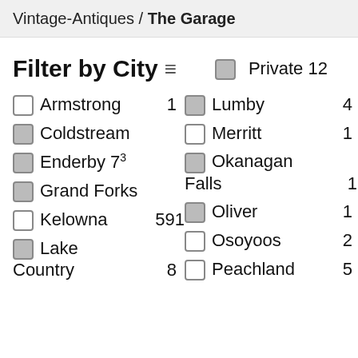Vintage-Antiques / The Garage
Filter by City
Private 12
Armstrong 1
Lumby 4
Coldstream
Merritt 1
Enderby 73
Okanagan Falls 1
Grand Forks
Oliver 1
Kelowna 591
Osoyoos 2
Lake Country 8
Peachland 5